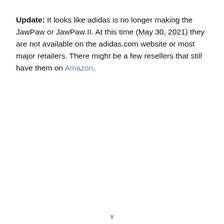Update: It looks like adidas is no longer making the JawPaw or JawPaw II. At this time (May 30, 2021) they are not available on the adidas.com website or most major retailers. There might be a few resellers that still have them on Amazon.